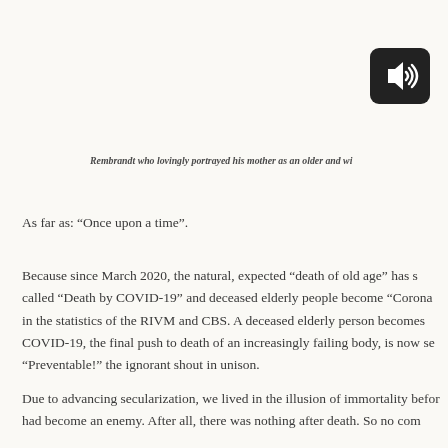[Figure (other): Audio speaker icon — black rounded rectangle with white speaker and sound waves symbol]
Rembrandt who lovingly portrayed his mother as an older and wi
As far as: “Once upon a time”.
Because since March 2020, the natural, expected “death of old age” has s called “Death by COVID-19” and deceased elderly people become “Corona in the statistics of the RIVM and CBS. A deceased elderly person becomes COVID-19, the final push to death of an increasingly failing body, is now se “Preventable!” the ignorant shout in unison.
Due to advancing secularization, we lived in the illusion of immortality befor had become an enemy. After all, there was nothing after death. So no com